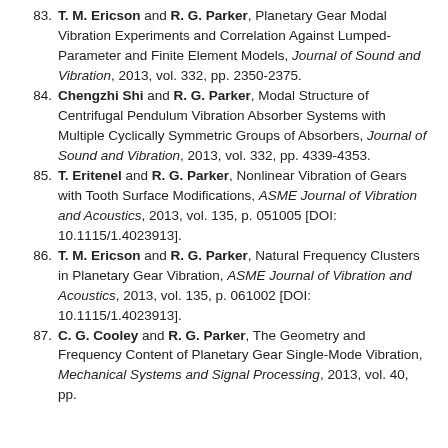83. T. M. Ericson and R. G. Parker, Planetary Gear Modal Vibration Experiments and Correlation Against Lumped-Parameter and Finite Element Models, Journal of Sound and Vibration, 2013, vol. 332, pp. 2350-2375.
84. Chengzhi Shi and R. G. Parker, Modal Structure of Centrifugal Pendulum Vibration Absorber Systems with Multiple Cyclically Symmetric Groups of Absorbers, Journal of Sound and Vibration, 2013, vol. 332, pp. 4339-4353.
85. T. Eritenel and R. G. Parker, Nonlinear Vibration of Gears with Tooth Surface Modifications, ASME Journal of Vibration and Acoustics, 2013, vol. 135, p. 051005 [DOI: 10.1115/1.4023913].
86. T. M. Ericson and R. G. Parker, Natural Frequency Clusters in Planetary Gear Vibration, ASME Journal of Vibration and Acoustics, 2013, vol. 135, p. 061002 [DOI: 10.1115/1.4023913].
87. C. G. Cooley and R. G. Parker, The Geometry and Frequency Content of Planetary Gear Single-Mode Vibration, Mechanical Systems and Signal Processing, 2013, vol. 40, pp.